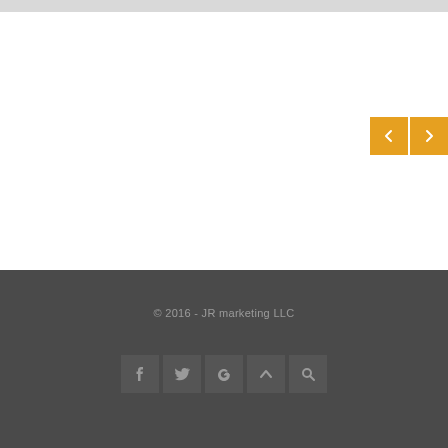[Figure (screenshot): Top gray bar at the top of the page]
[Figure (screenshot): Two orange navigation buttons with left and right chevrons]
© 2016 - JR marketing LLC
[Figure (screenshot): Row of five social/navigation icons: Facebook, Twitter, Google+, up-arrow, search]